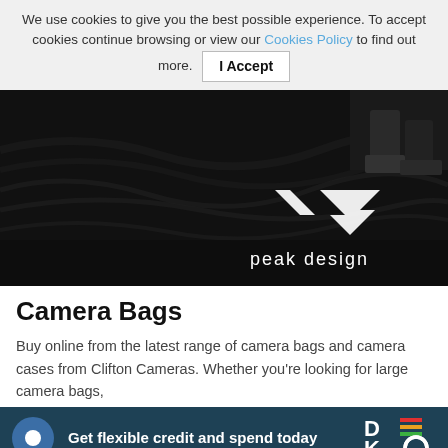We use cookies to give you the best possible experience. To accept cookies continue browsing or view our Cookies Policy to find out more. I Accept
[Figure (photo): Black and white photo of Peak Design camera bag on dark floor with Peak Design logo visible. Person's legs and shoes visible in upper right corner.]
Camera Bags
Buy online from the latest range of camera bags and camera cases from Clifton Cameras. Whether you're looking for large camera bags,
Get flexible credit and spend today
available for next day UK delivery.